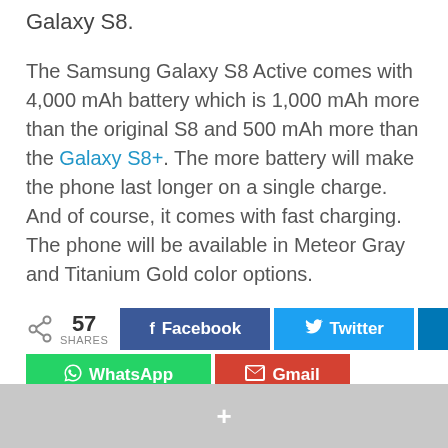Galaxy S8.
The Samsung Galaxy S8 Active comes with 4,000 mAh battery which is 1,000 mAh more than the original S8 and 500 mAh more than the Galaxy S8+. The more battery will make the phone last longer on a single charge. And of course, it comes with fast charging. The phone will be available in Meteor Gray and Titanium Gold color options.
57 SHARES | Facebook | Twitter | LinkedIn | WhatsApp | Gmail